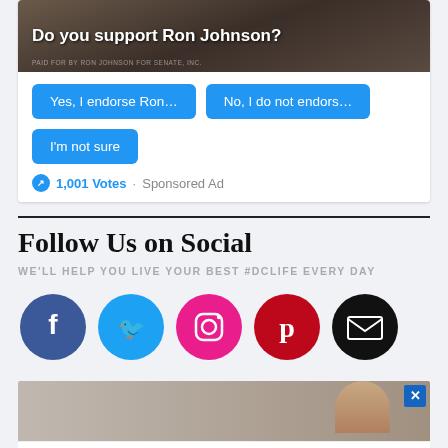[Figure (screenshot): Poll widget asking 'Do you support Ron Johnson?' with three blue button options: 'Yes, I endorse Ron...', 'No, I do not endors...', 'I'm not sure'. Shows 1,001 Votes and Sponsored Ad label.]
Follow Us on Social
WE'LL HELP YOU LIVE YOUR BEST #DCLIFE EVERY DAY
[Figure (infographic): Row of five social media icons: Facebook (dark blue circle with f), Twitter (light blue circle with bird), Instagram (pink circle with camera), Pinterest (dark red circle with P), Email (black circle with envelope)]
[Figure (screenshot): Advertisement banner with infinity logo, checkmark 'In-store shopping' text, blue diamond arrow icon, and partial text 'Save Up to 65%']